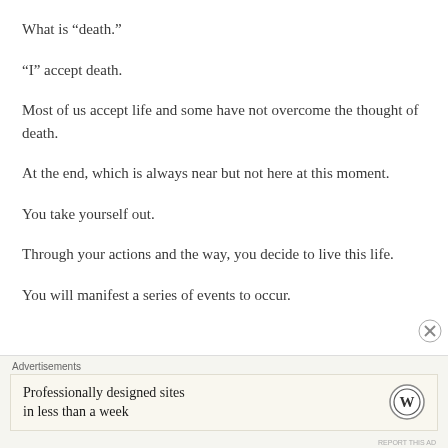What is “death.”
“I” accept death.
Most of us accept life and some have not overcome the thought of death.
At the end, which is always near but not here at this moment.
You take yourself out.
Through your actions and the way, you decide to live this life.
You will manifest a series of events to occur.
Advertisements
Professionally designed sites in less than a week